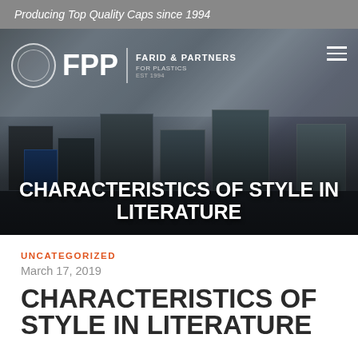Producing Top Quality Caps since 1994
[Figure (photo): Factory floor with industrial plastic manufacturing machinery. FPP (Farid & Partners For Plastics) logo and navigation bar overlaid on the image.]
CHARACTERISTICS OF STYLE IN LITERATURE
UNCATEGORIZED
March 17, 2019
CHARACTERISTICS OF STYLE IN LITERATURE